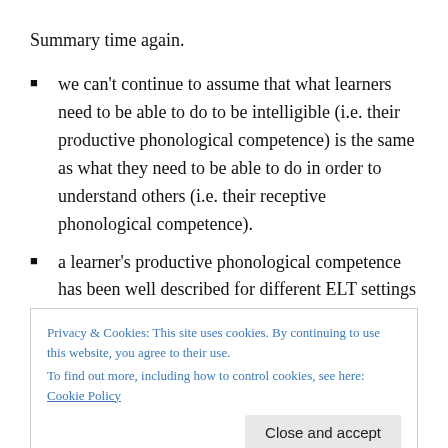Summary time again.
we can't continue to assume that what learners need to be able to do to be intelligible (i.e. their productive phonological competence) is the same as what they need to be able to do in order to understand others (i.e. their receptive phonological competence).
a learner's productive phonological competence has been well described for different ELT settings by experts such as Derwing & Munro (EFL/ESL) or
Privacy & Cookies: This site uses cookies. By continuing to use this website, you agree to their use.
To find out more, including how to control cookies, see here: Cookie Policy
constructed programme of English delivered at